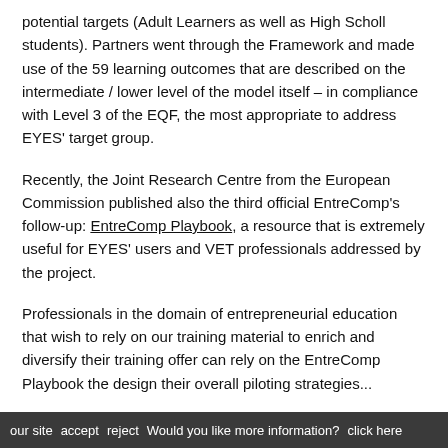potential targets (Adult Learners as well as High Scholl students). Partners went through the Framework and made use of the 59 learning outcomes that are described on the intermediate / lower level of the model itself – in compliance with Level 3 of the EQF, the most appropriate to address EYES' target group.
Recently, the Joint Research Centre from the European Commission published also the third official EntreComp's follow-up: EntreComp Playbook, a resource that is extremely useful for EYES' users and VET professionals addressed by the project.
Professionals in the domain of entrepreneurial education that wish to rely on our training material to enrich and diversify their training offer can rely on the EntreComp Playbook the design their overall piloting strategies...
our site   accept   reject   Would you like more information?   click here